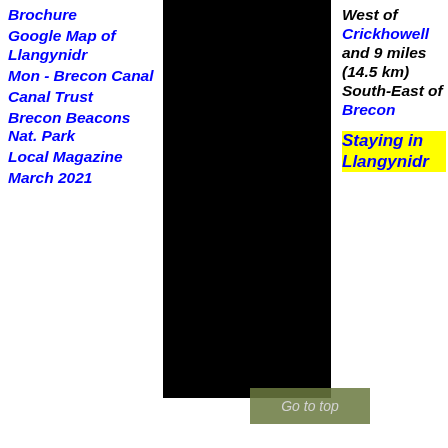Brochure
Google Map of Llangynidr
Mon - Brecon Canal
Canal Trust
Brecon Beacons Nat. Park
Local Magazine
March 2021
[Figure (photo): Black rectangle representing a map or image area with a 'Go to top' button overlay at bottom]
West of Crickhowell and 9 miles (14.5 km) South-East of Brecon
Staying in Llangynidr